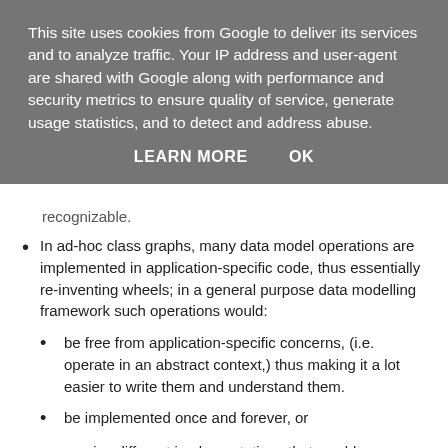This site uses cookies from Google to deliver its services and to analyze traffic. Your IP address and user-agent are shared with Google along with performance and security metrics to ensure quality of service, generate usage statistics, and to detect and address abuse.
LEARN MORE   OK
recognizable.
In ad-hoc class graphs, many data model operations are implemented in application-specific code, thus essentially re-inventing wheels; in a general purpose data modelling framework such operations would:
be free from application-specific concerns, (i.e. operate in an abstract context,) thus making it a lot easier to write them and understand them.
be implemented once and forever, or
receive different implementations that would